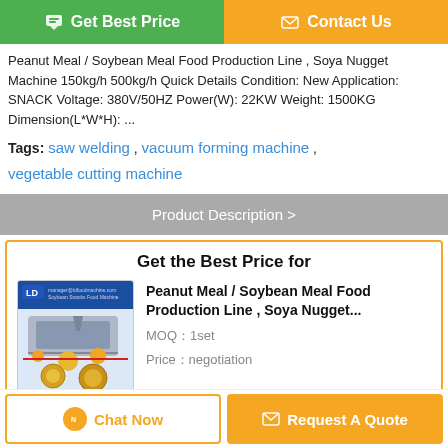[Figure (screenshot): Two call-to-action buttons: green 'Get Best Price' and orange 'Contact Us']
Peanut Meal / Soybean Meal Food Production Line , Soya Nugget Machine 150kg/h 500kg/h Quick Details Condition: New Application: SNACK Voltage: 380V/50HZ Power(W): 22KW Weight: 1500KG Dimension(L*W*H): ...
Tags: saw welding , vacuum forming machine , vegetable cutting machine
Product Description >
Get the Best Price for
[Figure (photo): Product image of Peanut Meal / Soybean Meal Food Production Line machine with LD logo]
Peanut Meal / Soybean Meal Food Production Line , Soya Nugget...
MOQ：1set
Price：negotiation
Continue
Chat Now
Request A Quote